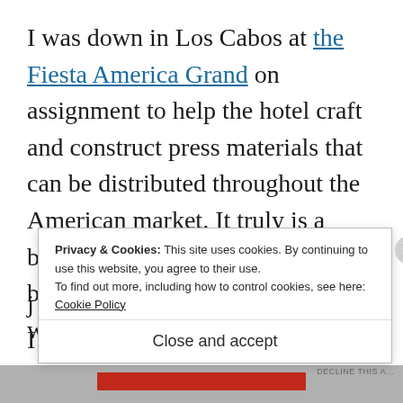I was down in Los Cabos at the Fiesta America Grand on assignment to help the hotel craft and construct press materials that can be distributed throughout the American market. It truly is a beautiful hotel with a lot to offer, but I don't expect you to take my word for it given that I j... I...
Privacy & Cookies: This site uses cookies. By continuing to use this website, you agree to their use. To find out more, including how to control cookies, see here: Cookie Policy
Close and accept